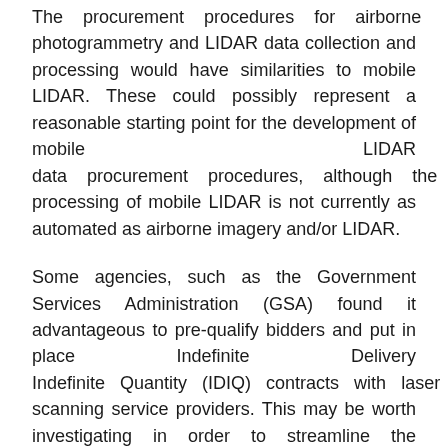The procurement procedures for airborne photogrammetry and LIDAR data collection and processing would have similarities to mobile LIDAR. These could possibly represent a reasonable starting point for the development of mobile LIDAR data procurement procedures, although the processing of mobile LIDAR is not currently as automated as airborne imagery and/or LIDAR.
Some agencies, such as the Government Services Administration (GSA) found it advantageous to pre-qualify bidders and put in place Indefinite Delivery Indefinite Quantity (IDIQ) contracts with laser scanning service providers. This may be worth investigating in order to streamline the procurement process and insure that the service providers are qualified to do the work.
The procurement group needs to work closely with subject matter experts to insure that all aspects of